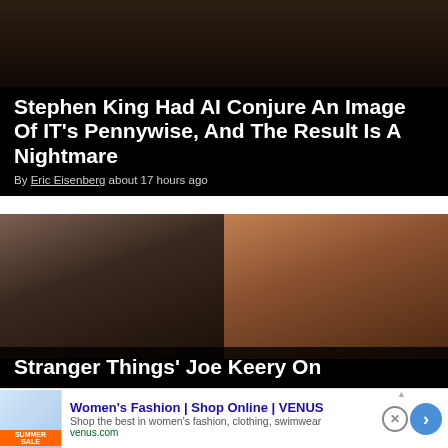[Figure (photo): Dark movie still showing Pennywise the clown from IT]
Stephen King Had AI Conjure An Image Of IT's Pennywise, And The Result Is A Nightmare
By Eric Eisenberg about 17 hours ago
[Figure (photo): Two side-by-side close-up shots of actors from Stranger Things]
Stranger Things’ Joe Keery On
[Figure (other): Advertisement for Women's Fashion from VENUS with Summer Sale promotional image]
Women's Fashion | Shop Online | VENUS
Shop the best in women's fashion, clothing, swimwear
venus.com